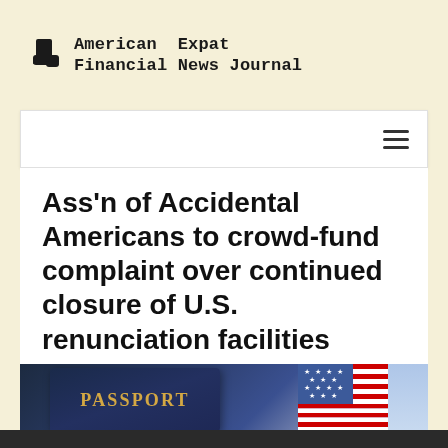American Expat Financial News Journal
Ass'n of Accidental Americans to crowd-fund complaint over continued closure of U.S. renunciation facilities
SEPTEMBER 5, 2021   BY HELEN BURGGRAF   NEWS
[Figure (photo): US passport book lying on top of an American flag]